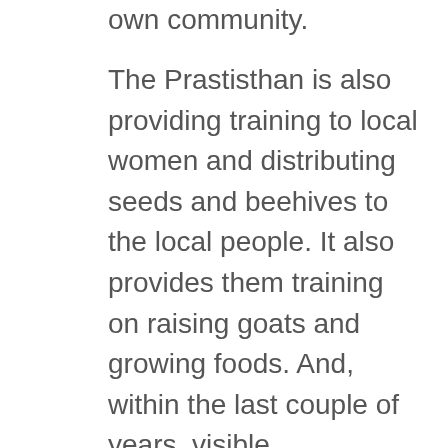own community.
The Prastisthan is also providing training to local women and distributing seeds and beehives to the local people. It also provides them training on raising goats and growing foods. And, within the last couple of years, visible transformation can be seen among the entire community. So, what are the lessons learnt? According to Gautam, the main lesson is that lives of marginalised communities like Chepangs can be transformed through dedication,